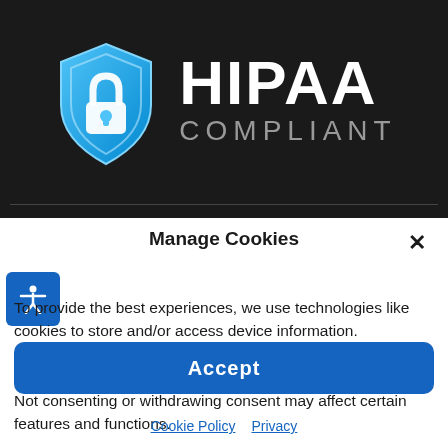[Figure (logo): HIPAA Compliant badge with blue shield icon containing a padlock, and text HIPAA COMPLIANT on dark background]
Manage Cookies
To provide the best experiences, we use technologies like cookies to store and/or access device information. Consenting to these technologies will allow us to process data such as browsing behavior or unique IDs on this site. Not consenting or withdrawing consent may affect certain features and functions.
Accept
Cookie Policy  Privacy